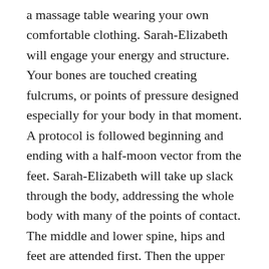a massage table wearing your own comfortable clothing. Sarah-Elizabeth will engage your energy and structure. Your bones are touched creating fulcrums, or points of pressure designed especially for your body in that moment. A protocol is followed beginning and ending with a half-moon vector from the feet. Sarah-Elizabeth will take up slack through the body, addressing the whole body with many of the points of contact. The middle and lower spine, hips and feet are attended first. Then the upper back, rib cage, shoulders, arms, neck and head are address. You will be asked if there is anything else your body would like attended before Sarah-Elizabeth closes the session. This invites you to check in with your body before you sit up. The